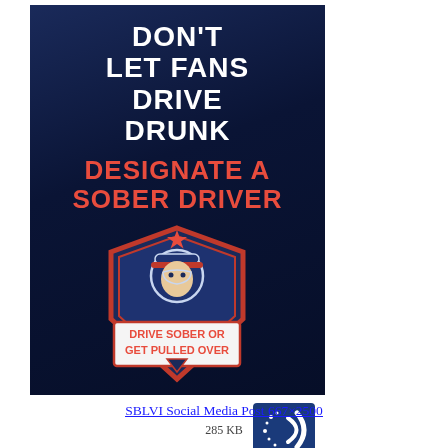[Figure (infographic): NHTSA 'Don't Let Fans Drive Drunk – Designate a Sober Driver' public safety poster on dark navy background. Features white bold headline text 'DON'T LET FANS DRIVE DRUNK', red bold text 'DESIGNATE A SOBER DRIVER', a 'Drive Sober or Get Pulled Over' shield badge logo with police officer mascot, NHTSA logo with safety icons, and TEAM logo.]
SBLVI Social Media Post 667×2500
285 KB